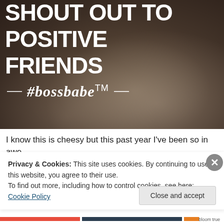[Figure (photo): Black and white photo of hands touching with text overlay reading 'SHOUT OUT TO POSITIVE FRIENDS' and '#bossbabe TM' logo]
I know this is cheesy but this past year I've been so in awe
Privacy & Cookies: This site uses cookies. By continuing to use this website, you agree to their use.
To find out more, including how to control cookies, see here: Cookie Policy
Close and accept